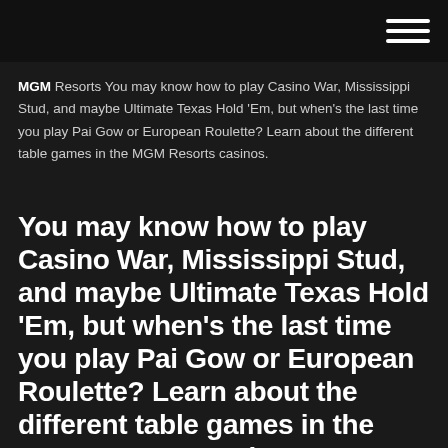[hamburger menu icon]
MGM Resorts You may know how to play Casino War, Mississippi Stud, and maybe Ultimate Texas Hold 'Em, but when's the last time you play Pai Gow or European Roulette? Learn about the different table games in the MGM Resorts casinos.
You may know how to play Casino War, Mississippi Stud, and maybe Ultimate Texas Hold 'Em, but when's the last time you play Pai Gow or European Roulette? Learn about the different table games in the MGM Resorts casinos.